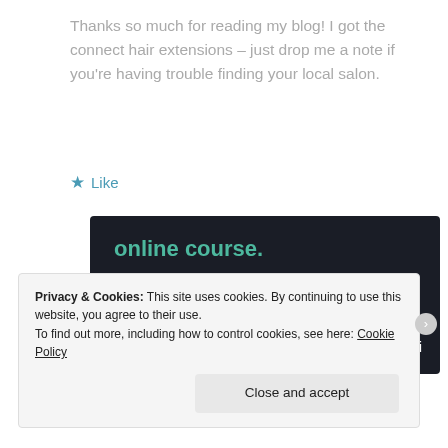Thanks so much for reading my blog! I got the connect hair extensions – just drop me a note if you're having trouble finding your local salon.
★ Like
[Figure (screenshot): Dark-background advertisement banner showing 'online course.' in teal text with a green 'Learn More' button and Sensei logo in the bottom right.]
Privacy & Cookies: This site uses cookies. By continuing to use this website, you agree to their use. To find out more, including how to control cookies, see here: Cookie Policy